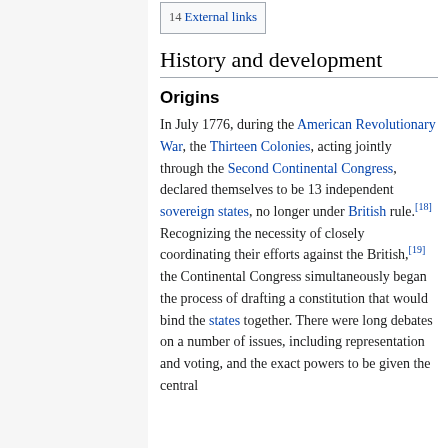14  External links
History and development
Origins
In July 1776, during the American Revolutionary War, the Thirteen Colonies, acting jointly through the Second Continental Congress, declared themselves to be 13 independent sovereign states, no longer under British rule.[18] Recognizing the necessity of closely coordinating their efforts against the British,[19] the Continental Congress simultaneously began the process of drafting a constitution that would bind the states together. There were long debates on a number of issues, including representation and voting, and the exact powers to be given the central